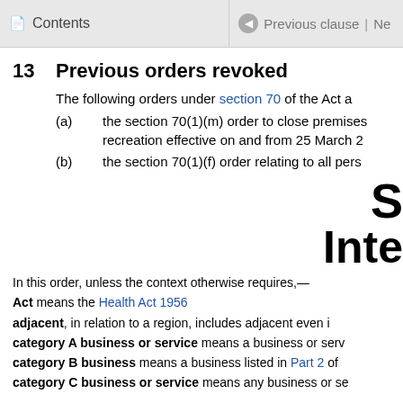Contents | Previous clause | Ne
13 Previous orders revoked
The following orders under section 70 of the Act a
(a) the section 70(1)(m) order to close premises recreation effective on and from 25 March 2
(b) the section 70(1)(f) order relating to all pers
S
Inte
In this order, unless the context otherwise requires,—
Act means the Health Act 1956
adjacent, in relation to a region, includes adjacent even i
category A business or service means a business or serv
category B business means a business listed in Part 2 of
category C business or service means any business or se